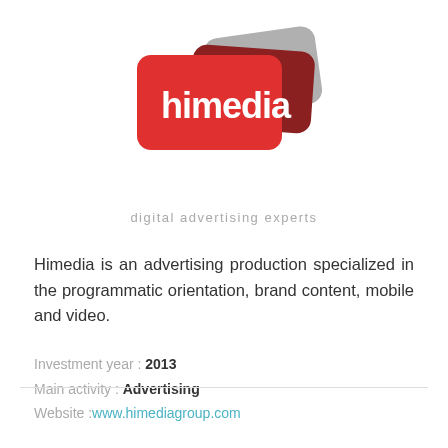[Figure (logo): Himedia logo — red and dark red folder-tab shapes with white 'himedia' wordmark]
digital advertising experts
Himedia is an advertising production specialized in the programmatic orientation, brand content, mobile and video.
Investment year : 2013
Main activity : Advertising
Website : www.himediagroup.com